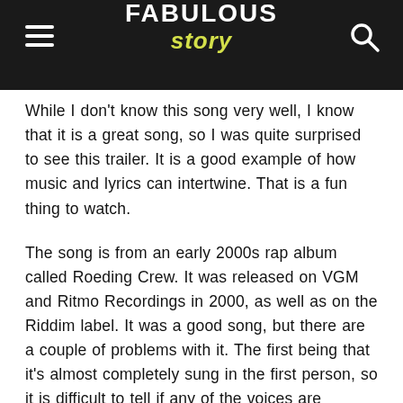FABULOUS story
While I don't know this song very well, I know that it is a great song, so I was quite surprised to see this trailer. It is a good example of how music and lyrics can intertwine. That is a fun thing to watch.
The song is from an early 2000s rap album called Roeding Crew. It was released on VGM and Ritmo Recordings in 2000, as well as on the Riddim label. It was a good song, but there are a couple of problems with it. The first being that it's almost completely sung in the first person, so it is difficult to tell if any of the voices are actually from the film, or just a couple of characters from the video game.
The second problem is that the song is so bad that it has a very high chance of being a parody. It isn't